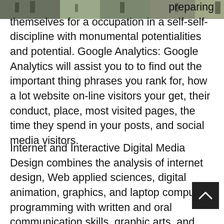[Figure (photo): A photo strip showing trees or an outdoor scene at the top of the page]
preparing themselves for a occupation in a self-self-discipline with monumental potentialities and potential. Google Analytics: Google Analytics will assist you to to find out the important thing phrases you rank for, how a lot website on-line visitors your get, their conduct, place, most visited pages, the time they spend in your posts, and social media visitors.
Internet and Interactive Digital Media Design combines the analysis of internet design, Web applied sciences, digital animation, graphics, and laptop computer programming with written and oral communication skills, graphic arts, and enterprise information to rearrange college so students for careers in information know-how, entrepreneurial options, or swan to a bachelor's